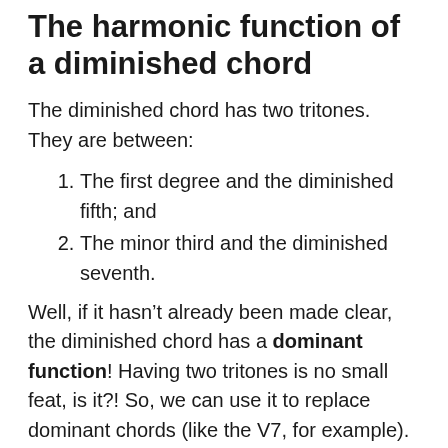The harmonic function of a diminished chord
The diminished chord has two tritones. They are between:
1. The first degree and the diminished fifth; and
2. The minor third and the diminished seventh.
Well, if it hasn’t already been made clear, the diminished chord has a dominant function! Having two tritones is no small feat, is it?! So, we can use it to replace dominant chords (like the V7, for example).
How to use Diminished Chords
We can exchange the V7 chord for the diminished chord located one semitone above it. For example, the G7 chord could be replaced by the